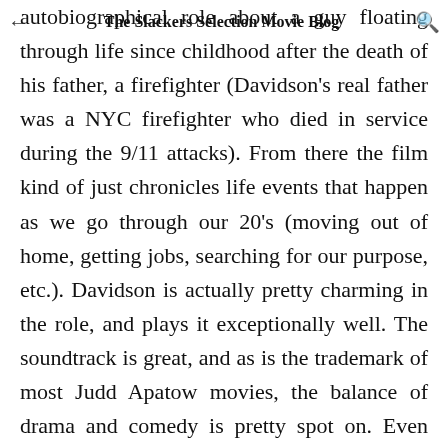The Slackers Selection Movie Blog
autobiographical role about a guy floating through life since childhood after the death of his father, a firefighter (Davidson's real father was a NYC firefighter who died in service during the 9/11 attacks). From there the film kind of just chronicles life events that happen as we go through our 20's (moving out of home, getting jobs, searching for our purpose, etc.). Davidson is actually pretty charming in the role, and plays it exceptionally well. The soundtrack is great, and as is the trademark of most Judd Apatow movies, the balance of drama and comedy is pretty spot on. Even though the movie clocks in at just over two-hours, it never felt belaboring. I enjoyed watching